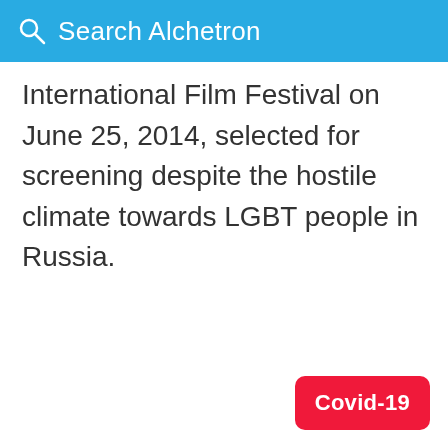Search Alchetron
International Film Festival on June 25, 2014, selected for screening despite the hostile climate towards LGBT people in Russia.
Covid-19